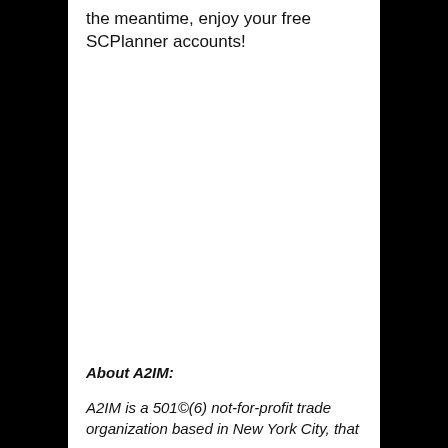the meantime, enjoy your free SCPlanner accounts!
About A2IM:
A2IM is a 501©(6) not-for-profit trade organization based in New York City, that